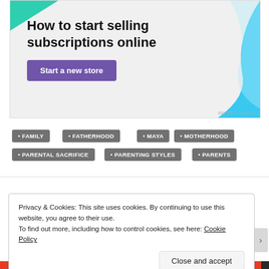[Figure (other): Advertisement banner with teal top-left corner accent, blue wave shape on the right, heading 'How to start selling subscriptions online', and a purple 'Start a new store' button on a light gray background. Small 'REPORT THIS AD' text at bottom right.]
• FAMILY
• FATHERHOOD
• MAYA
• MOTHERHOOD
• PARENTAL SACRIFICE
• PARENTING STYLES
• PARENTS
Privacy & Cookies: This site uses cookies. By continuing to use this website, you agree to their use.
To find out more, including how to control cookies, see here: Cookie Policy
Close and accept